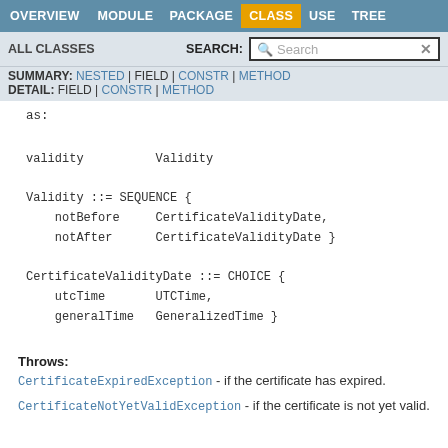OVERVIEW  MODULE  PACKAGE  CLASS  USE  TREE
ALL CLASSES   SEARCH: Search
SUMMARY: NESTED | FIELD | CONSTR | METHOD
DETAIL: FIELD | CONSTR | METHOD
as:
validity          Validity

Validity ::= SEQUENCE {
    notBefore     CertificateValidityDate,
    notAfter      CertificateValidityDate }

CertificateValidityDate ::= CHOICE {
    utcTime       UTCTime,
    generalTime   GeneralizedTime }
Throws:
CertificateExpiredException - if the certificate has expired.
CertificateNotYetValidException - if the certificate is not yet valid.